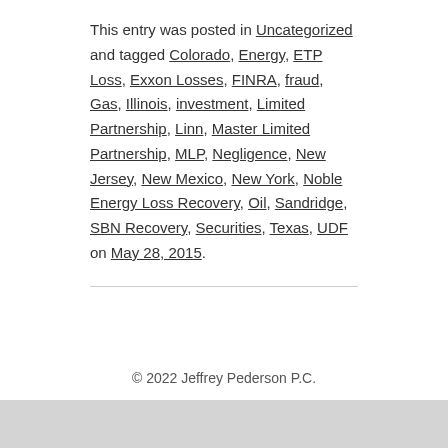This entry was posted in Uncategorized and tagged Colorado, Energy, ETP Loss, Exxon Losses, FINRA, fraud, Gas, Illinois, investment, Limited Partnership, Linn, Master Limited Partnership, MLP, Negligence, New Jersey, New Mexico, New York, Noble Energy Loss Recovery, Oil, Sandridge, SBN Recovery, Securities, Texas, UDF on May 28, 2015.
© 2022 Jeffrey Pederson P.C.